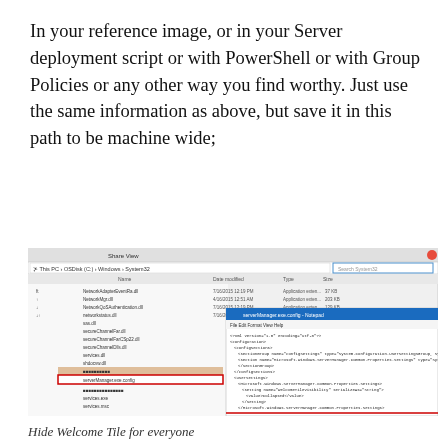In your reference image, or in your Server deployment script or with PowerShell or with Group Policies or any other way you find worthy. Just use the same information as above, but save it in this path to be machine wide;
[Figure (screenshot): Windows File Explorer showing C:\Windows\System32 directory with serverManager.exe.config file highlighted, alongside an open Notepad window displaying XML configuration content for Microsoft.Windows.ServerManager with WelcomeTileVisibility setting. A red rectangle highlights the serverManager.exe.config file in the left panel.]
Hide Welcome Tile for everyone